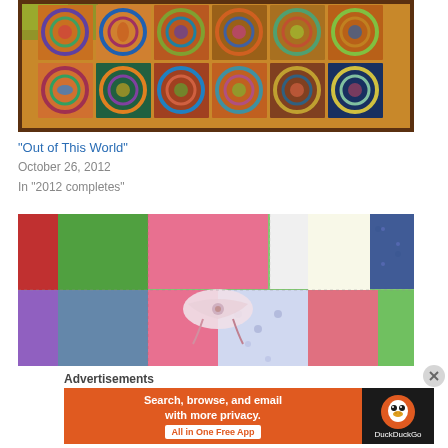[Figure (photo): Colorful quilt with circular swirling patterns in many colors hung outdoors]
“Out of This World”
October 26, 2012
In “2012 completes”
[Figure (photo): Close-up of a patchwork quilt with pink, green, purple, and white fabric squares with some unfinished edges]
Advertisements
[Figure (screenshot): DuckDuckGo advertisement banner: Search, browse, and email with more privacy. All in One Free App]